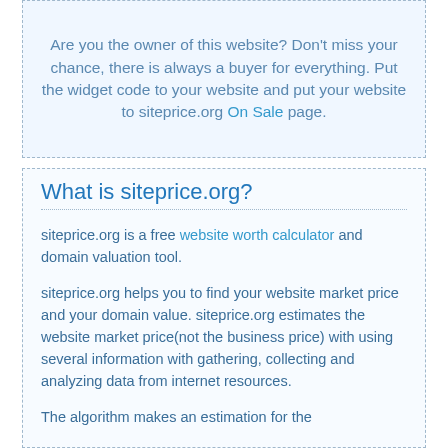Are you the owner of this website? Don't miss your chance, there is always a buyer for everything. Put the widget code to your website and put your website to siteprice.org On Sale page.
What is siteprice.org?
siteprice.org is a free website worth calculator and domain valuation tool.
siteprice.org helps you to find your website market price and your domain value. siteprice.org estimates the website market price(not the business price) with using several information with gathering, collecting and analyzing data from internet resources.
The algorithm makes an estimation for the